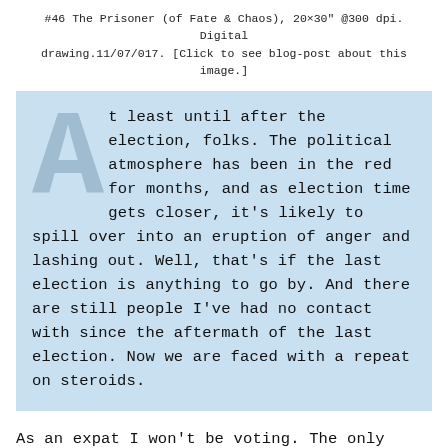#46 The Prisoner (of Fate & Chaos), 20×30" @300 dpi. Digital drawing.11/07/017. [Click to see blog-post about this image.]
At least until after the election, folks. The political atmosphere has been in the red for months, and as election time gets closer, it's likely to spill over into an eruption of anger and lashing out. Well, that's if the last election is anything to go by. And there are still people I've had no contact with since the aftermath of the last election. Now we are faced with a repeat on steroids.
As an expat I won't be voting. The only reason to do so – given the chances of my overseas mail-in